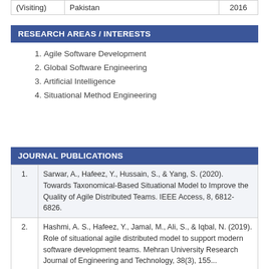| (Visiting) | Pakistan | 2016 |
RESEARCH AREAS / INTERESTS
1. Agile Software Development
2. Global Software Engineering
3. Artificial Intelligence
4. Situational Method Engineering
JOURNAL PUBLICATIONS
| 1. | Sarwar, A., Hafeez, Y., Hussain, S., & Yang, S. (2020). Towards Taxonomical-Based Situational Model to Improve the Quality of Agile Distributed Teams. IEEE Access, 8, 6812-6826. |
| 2. | Hashmi, A. S., Hafeez, Y., Jamal, M., Ali, S., & Iqbal, N. (2019). Role of situational agile distributed model to support modern software development teams. Mehran University Research Journal of Engineering and Technology, 38(3), 155... |